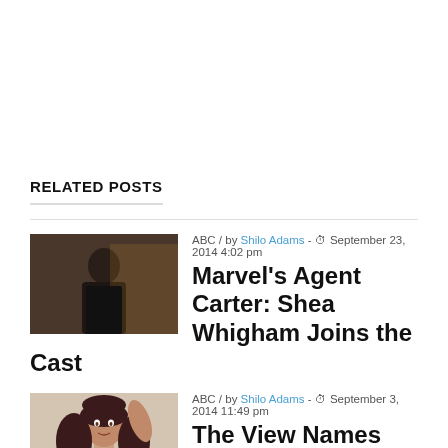RELATED POSTS
[Figure (photo): Dark-toned photo of a man in a dark jacket, looking downward]
ABC / by Shilo Adams - September 23, 2014 4:02 pm
Marvel's Agent Carter: Shea Whigham Joins the Cast
[Figure (photo): Photo of a woman with long dark hair posing with her hand raised]
ABC / by Shilo Adams - September 3, 2014 11:49 pm
The View Names Rosie Perez and Nicolle Wallace